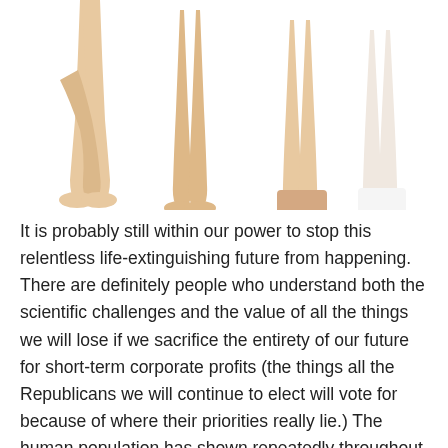[Figure (photo): Photo showing multiple pairs of legs and feet from the knees down against a white background. Some legs are bare with skin-tone coloring, some wear skin-tone socks, and one pair wears white socks/tights. The legs are posed in various positions.]
It is probably still within our power to stop this relentless life-extinguishing future from happening. There are definitely people who understand both the scientific challenges and the value of all the things we will lose if we sacrifice the entirety of our future for short-term corporate profits (the things all the Republicans we will continue to elect will vote for because of where their priorities really lie.) The human population has shown repeatedly throughout history that they are resilient and inventive, and can overcome all sorts of evil if the will to do so is truly there.